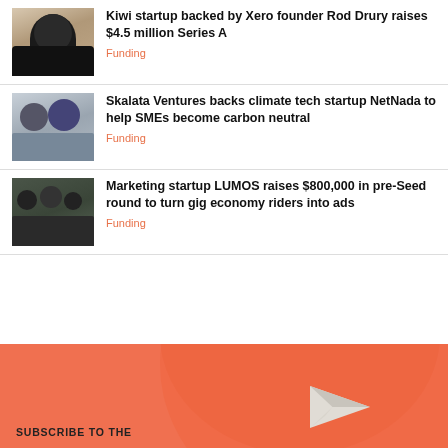[Figure (photo): Photo of a man in black shirt against a wooden wall background]
Kiwi startup backed by Xero founder Rod Drury raises $4.5 million Series A
Funding
[Figure (photo): Photo of two young men standing together]
Skalata Ventures backs climate tech startup NetNada to help SMEs become carbon neutral
Funding
[Figure (photo): Photo of a group of people sitting together outdoors]
Marketing startup LUMOS raises $800,000 in pre-Seed round to turn gig economy riders into ads
Funding
[Figure (illustration): Orange subscription banner with paper plane graphic and 'SUBSCRIBE TO THE' text]